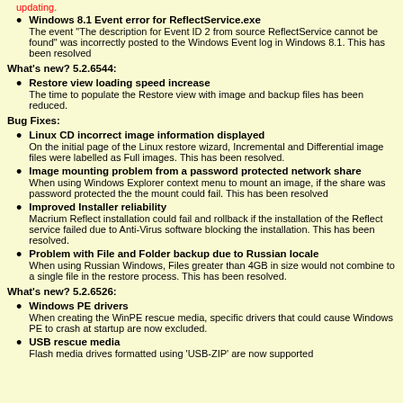updating.
Windows 8.1 Event error for ReflectService.exe — The event "The description for Event ID 2 from source ReflectService cannot be found" was incorrectly posted to the Windows Event log in Windows 8.1. This has been resolved
What's new? 5.2.6544:
Restore view loading speed increase — The time to populate the Restore view with image and backup files has been reduced.
Bug Fixes:
Linux CD incorrect image information displayed — On the initial page of the Linux restore wizard, Incremental and Differential image files were labelled as Full images. This has been resolved.
Image mounting problem from a password protected network share — When using Windows Explorer context menu to mount an image, if the share was password protected the the mount could fail. This has been resolved
Improved Installer reliability — Macrium Reflect installation could fail and rollback if the installation of the Reflect service failed due to Anti-Virus software blocking the installation. This has been resolved.
Problem with File and Folder backup due to Russian locale — When using Russian Windows, Files greater than 4GB in size would not combine to a single file in the restore process. This has been resolved.
What's new? 5.2.6526:
Windows PE drivers — When creating the WinPE rescue media, specific drivers that could cause Windows PE to crash at startup are now excluded.
USB rescue media — Flash media drives formatted using 'USB-ZIP' are now supported